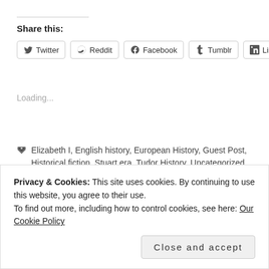Share this:
Twitter Reddit Facebook Tumblr LinkedIn
Loading...
Elizabeth I, English history, European History, Guest Post, Historical fiction, Stuart era, Tudor History, Uncategorized
Bess Throckmorton, Defenders of the Norman Crown, Defenders of the Norman Crown: Rise and Fall of the Warenne Earls of Surrey,
Privacy & Cookies: This site uses cookies. By continuing to use this website, you agree to their use.
To find out more, including how to control cookies, see here: Our Cookie Policy
Close and accept